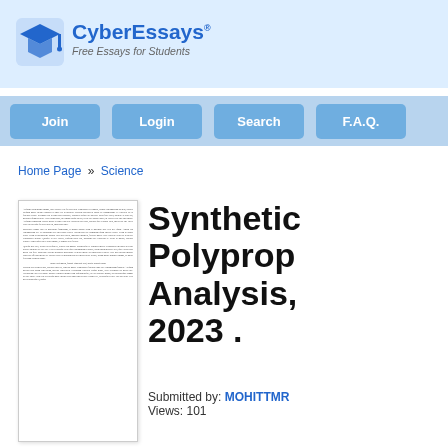[Figure (logo): CyberEssays logo with graduation cap icon, text 'CyberEssays®' and tagline 'Free Essays for Students']
Join  Login  Search  F.A.Q.
Home Page » Science
[Figure (screenshot): Thumbnail preview of a document page with lorem ipsum placeholder text in multiple paragraphs]
Synthetic Polyprop Analysis, 2023 .
Submitted by: MOHITTMR
Views: 101